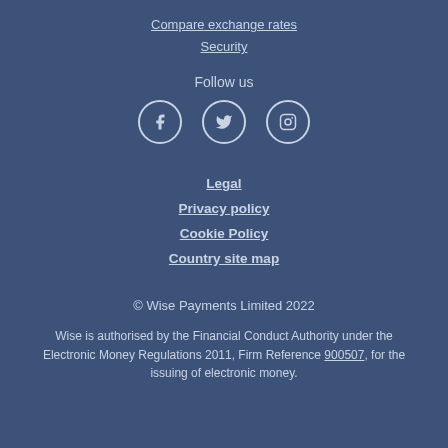Compare exchange rates
Security
Follow us
[Figure (illustration): Social media icons: Facebook, Twitter, Instagram in circular outlined buttons]
Legal
Privacy policy
Cookie Policy
Country site map
© Wise Payments Limited 2022
Wise is authorised by the Financial Conduct Authority under the Electronic Money Regulations 2011, Firm Reference 900507, for the issuing of electronic money.